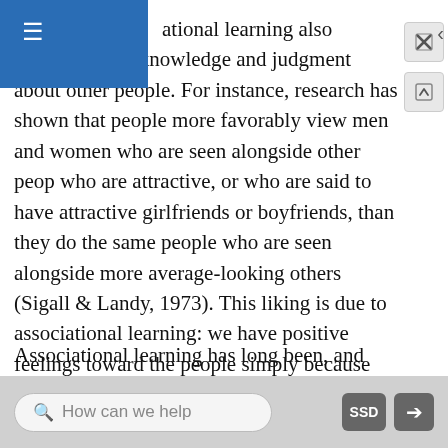ational learning also influences our knowledge and judgment about other people. For instance, research has shown that people more favorably view men and women who are seen alongside other people who are attractive, or who are said to have attractive girlfriends or boyfriends, than they do the same people who are seen alongside more average-looking others (Sigall & Landy, 1973). This liking is due to associational learning: we have positive feelings toward the people simply because those people are associated with the positive features of the attractive others.
Associational learning has long been, and continues to be, an effective tool in marketing and advertising